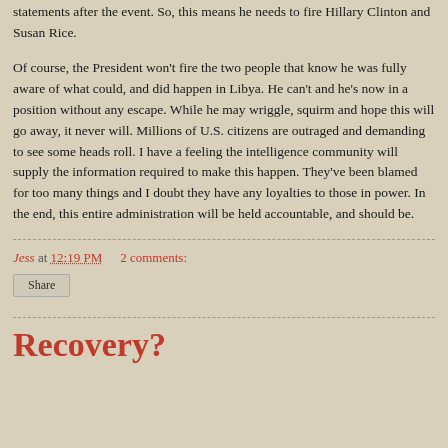statements after the event. So, this means he needs to fire Hillary Clinton and Susan Rice.
Of course, the President won't fire the two people that know he was fully aware of what could, and did happen in Libya. He can't and he's now in a position without any escape. While he may wriggle, squirm and hope this will go away, it never will. Millions of U.S. citizens are outraged and demanding to see some heads roll. I have a feeling the intelligence community will supply the information required to make this happen. They've been blamed for too many things and I doubt they have any loyalties to those in power. In the end, this entire administration will be held accountable, and should be.
Jess at 12:19 PM    2 comments:
Share
Recovery?